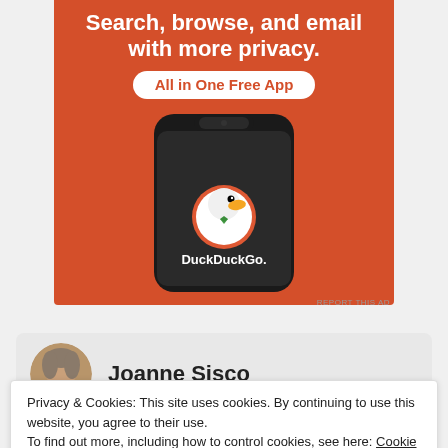[Figure (photo): DuckDuckGo advertisement banner on orange background showing a smartphone with DuckDuckGo app. Text reads 'Search, browse, and email with more privacy. All in One Free App' with the DuckDuckGo duck logo and app name on the phone screen.]
REPORT THIS AD
[Figure (photo): Author profile photo of Joanne Sisco - a woman with short grey/brown hair]
Joanne Sisco
Privacy & Cookies: This site uses cookies. By continuing to use this website, you agree to their use.
To find out more, including how to control cookies, see here: Cookie Policy
Close and accept